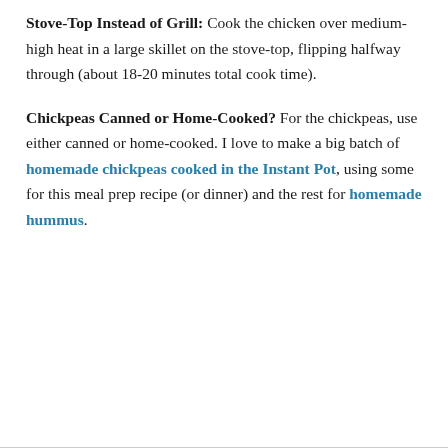Stove-Top Instead of Grill: Cook the chicken over medium-high heat in a large skillet on the stove-top, flipping halfway through (about 18-20 minutes total cook time).
Chickpeas Canned or Home-Cooked? For the chickpeas, use either canned or home-cooked. I love to make a big batch of homemade chickpeas cooked in the Instant Pot, using some for this meal prep recipe (or dinner) and the rest for homemade hummus.